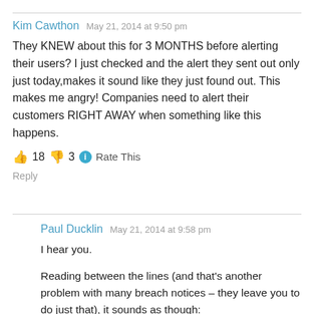Kim Cawthon   May 21, 2014 at 9:50 pm
They KNEW about this for 3 MONTHS before alerting their users? I just checked and the alert they sent out only just today,makes it sound like they just found out. This makes me angry! Companies need to alert their customers RIGHT AWAY when something like this happens.
👍 18 👎 3 ℹ Rate This
Reply
Paul Ducklin   May 21, 2014 at 9:58 pm
I hear you.
Reading between the lines (and that's another problem with many breach notices – they leave you to do just that), it sounds as though: